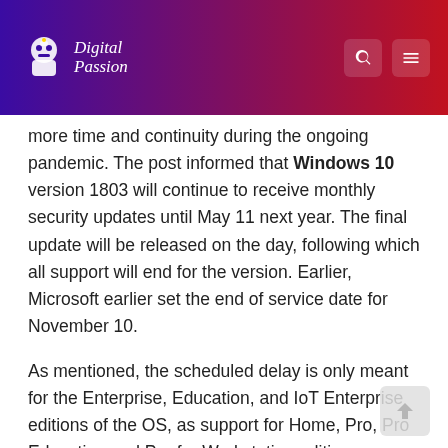Digital Passion
more time and continuity during the ongoing pandemic. The post informed that Windows 10 version 1803 will continue to receive monthly security updates until May 11 next year. The final update will be released on the day, following which all support will end for the version. Earlier, Microsoft earlier set the end of service date for November 10.
As mentioned, the scheduled delay is only meant for the Enterprise, Education, and IoT Enterprise editions of the OS, as support for Home, Pro, Pro Education and Pro for Workstation editions was already stopped on November 12, 2019.
The post also stated that security updates for